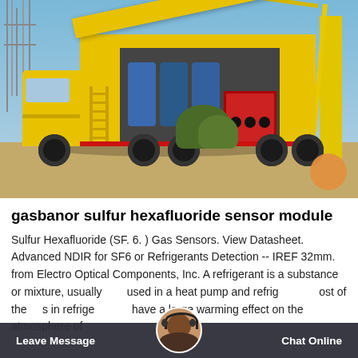[Figure (photo): A yellow industrial truck/vehicle with an open container holding blue barrels and equipment, parked at what appears to be an electrical substation with power line towers in the background. A yellow crane is visible on the right side. The ground is sandy/dusty.]
gasbanor sulfur hexafluoride sensor module
Sulfur Hexafluoride (SF. 6. ) Gas Sensors. View Datasheet. Advanced NDIR for SF6 or Refrigerants Detection -- IREF 32mm. from Electro Optical Components, Inc. A refrigerant is a substance or mixture, usually used in a heat pump and refrig Leave Message ost of the s in refrige Chat Online have a large warming effect on the atmosphere of